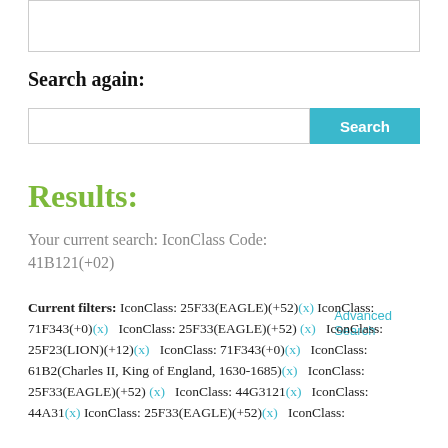[Figure (screenshot): Top portion of a search input box, partially cropped]
Search again:
[Figure (screenshot): Search bar with text input field and teal Search button]
Advanced Search
Results:
Your current search: IconClass Code: 41B121(+02)
Current filters: IconClass: 25F33(EAGLE)(+52)(x) IconClass: 71F343(+0)(x)   IconClass: 25F33(EAGLE)(+52)(x)   IconClass: 25F23(LION)(+12)(x)   IconClass: 71F343(+0)(x)   IconClass: 61B2(Charles II, King of England, 1630-1685)(x)   IconClass: 25F33(EAGLE)(+52)(x)   IconClass: 44G3121(x)   IconClass: 44A31(x) IconClass: 25F33(EAGLE)(+52)(x)   IconClass: